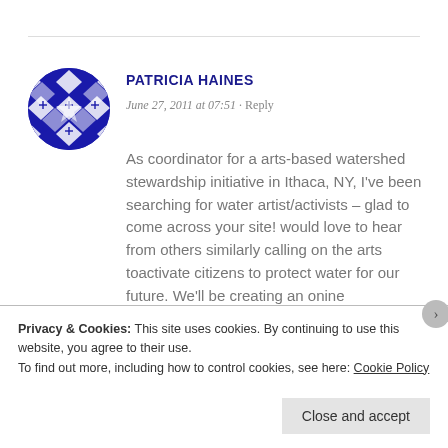[Figure (illustration): Blue geometric/quilt pattern circular avatar icon for Patricia Haines]
PATRICIA HAINES
June 27, 2011 at 07:51 · Reply
As coordinator for a arts-based watershed stewardship initiative in Ithaca, NY, I've been searching for water artist/activists – glad to come across your site! would love to hear from others similarly calling on the arts toactivate citizens to protect water for our future. We'll be creating an onine
Privacy & Cookies: This site uses cookies. By continuing to use this website, you agree to their use.
To find out more, including how to control cookies, see here: Cookie Policy
Close and accept